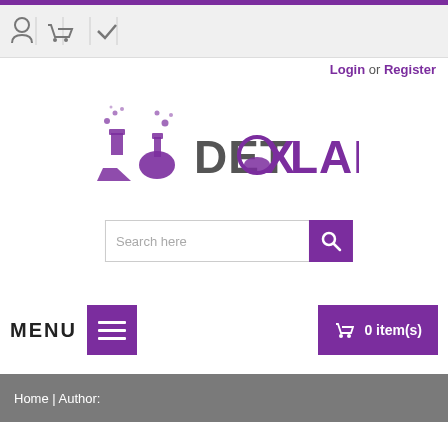[Figure (logo): DetoxLabs logo with beaker/flask icons in purple and grey text]
Login or Register
[Figure (screenshot): Search bar with 'Search here' placeholder and purple search button]
MENU
[Figure (screenshot): Purple hamburger menu button]
0 item(s)
Home | Author: